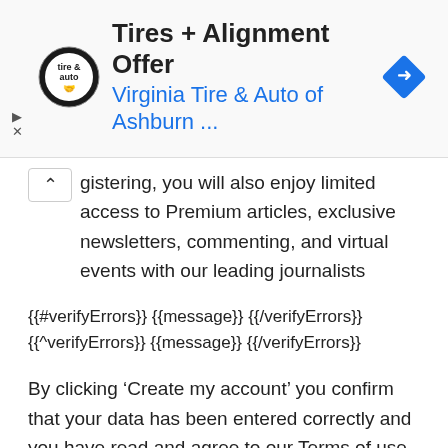[Figure (screenshot): Advertisement banner for Virginia Tire & Auto of Ashburn showing logo, title 'Tires + Alignment Offer', subtitle 'Virginia Tire & Auto of Ashburn ...', a blue diamond navigation icon, and ad controls (play/close buttons)]
gistering, you will also enjoy limited access to Premium articles, exclusive newsletters, commenting, and virtual events with our leading journalists
{{#verifyErrors}} {{message}} {{/verifyErrors}} {{^verifyErrors}} {{message}} {{/verifyErrors}}
By clicking ‘Create my account’ you confirm that your data has been entered correctly and you have read and agree to our Terms of use, Cookie policy and Privacy notice.
This site is protected by reCAPTCHA and the Google Privacy policy and Terms of service apply.